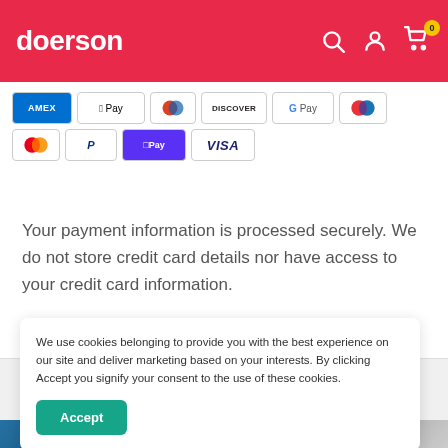doerson
[Figure (logo): Payment method badges: AMEX, Apple Pay, Diners Club, Discover, Google Pay, Maestro, Mastercard, PayPal, ShopPay, Visa]
Your payment information is processed securely. We do not store credit card details nor have access to your credit card information.
We use cookies belonging to provide you with the best experience on our site and deliver marketing based on your interests. By clicking Accept you signify your consent to the use of these cookies.